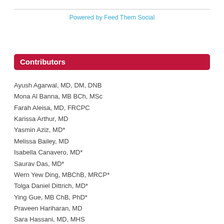Powered by Feed Them Social
Contributors
Ayush Agarwal, MD, DM, DNB
Mona Al Banna, MB BCh, MSc
Farah Aleisa, MD, FRCPC
Karissa Arthur, MD
Yasmin Aziz, MD*
Melissa Bailey, MD
Isabella Canavero, MD*
Saurav Das, MD*
Wern Yew Ding, MBChB, MRCP*
Tolga Daniel Dittrich, MD*
Ying Gue, MB ChB, PhD*
Praveen Hariharan, MD
Sara Hassani, MD, MHS
Muhammad Rizwan Husain, MD*
Fransisca Indraswari, MD
Nurose Karim, MD*
Arooshi Kumar, MD